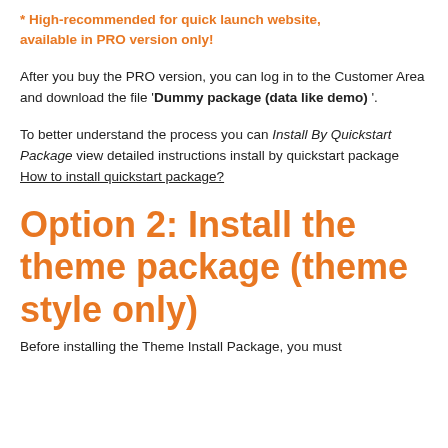* High-recommended for quick launch website, available in PRO version only!
After you buy the PRO version, you can log in to the Customer Area and download the file 'Dummy package (data like demo)'.
To better understand the process you can Install By Quickstart Package view detailed instructions install by quickstart package How to install quickstart package?
Option 2: Install the theme package (theme style only)
Before installing the Theme Install Package, you must